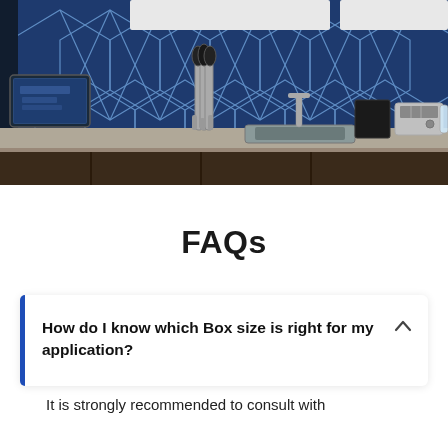[Figure (photo): Kitchen or break room area with blue geometric tile backsplash, beer/beverage tap, sink, toaster, and other appliances on counter. A monitor/display is visible on the left wall.]
FAQs
How do I know which Box size is right for my application?
It is strongly recommended to consult with